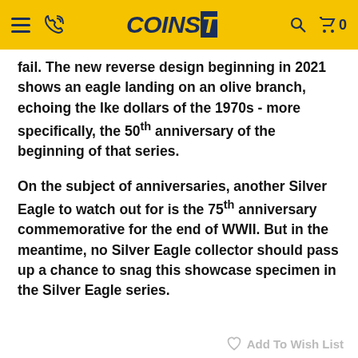COINS TV
fail. The new reverse design beginning in 2021 shows an eagle landing on an olive branch, echoing the Ike dollars of the 1970s - more specifically, the 50th anniversary of the beginning of that series.
On the subject of anniversaries, another Silver Eagle to watch out for is the 75th anniversary commemorative for the end of WWII. But in the meantime, no Silver Eagle collector should pass up a chance to snag this showcase specimen in the Silver Eagle series.
Add To Wish List